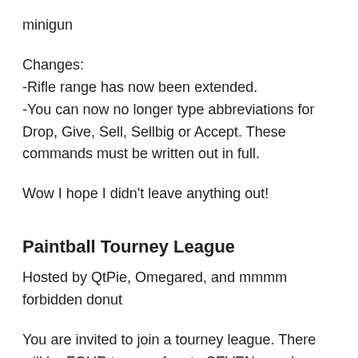minigun
Changes:
-Rifle range has now been extended.
-You can now no longer type abbreviations for Drop, Give, Sell, Sellbig or Accept. These commands must be written out in full.
Wow I hope I didn't leave anything out!
Paintball Tourney League
Hosted by QtPie, Omegared, and mmmm forbidden donut
You are invited to join a tourney league. There will be FOUR teams of up to SEVEN people registered to each team. You will HAVE to be registered to play on one of